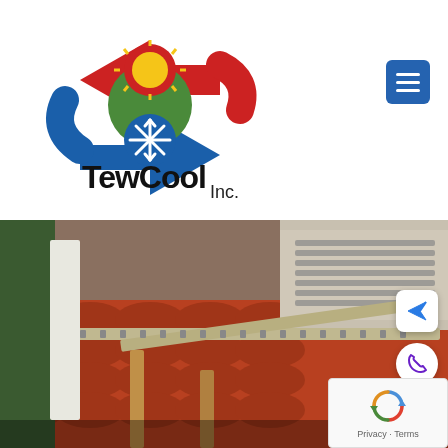[Figure (logo): TewCool Inc. logo with circular arrows in red and blue, sun icon, snowflake icon, and company name text]
[Figure (other): Blue hamburger menu button in top right corner]
[Figure (photo): Photograph of an air conditioning unit mounted on metal brackets on a rooftop with terracotta tiles and wooden structures]
[Figure (other): White rounded square button with blue send/arrow icon]
[Figure (other): White circular button with purple phone icon]
[Figure (other): reCAPTCHA widget showing spinning arrows logo with Privacy and Terms text links]